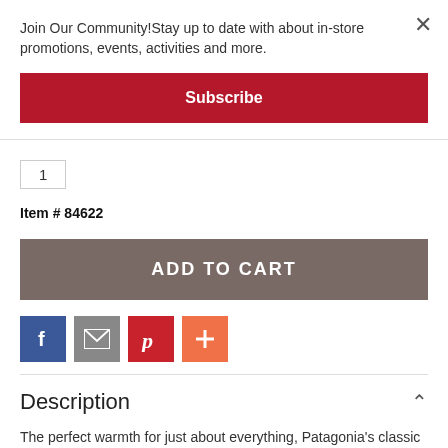Join Our Community!Stay up to date with about in-store promotions, events, activities and more.
Subscribe
1
Item # 84622
ADD TO CART
[Figure (other): Social sharing icons: Facebook (blue), Email (gray), Pinterest (red), Plus/More (orange)]
Description
The perfect warmth for just about everything, Patagonia's classic